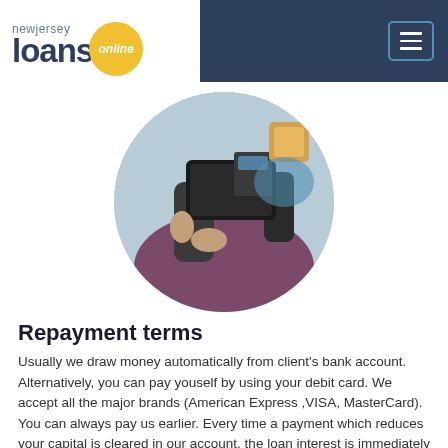newjersey loans online
[Figure (photo): Circular cropped photo of a person holding a black leather wallet, wearing dark clothing, with a purple/maroon background.]
Repayment terms
Usually we draw money automatically from client's bank account. Alternatively, you can pay youself by using your debit card. We accept all the major brands (American Express ,VISA, MasterCard). You can always pay us earlier. Every time a payment which reduces your capital is cleared in our account, the loan interest is immediately adjusted.